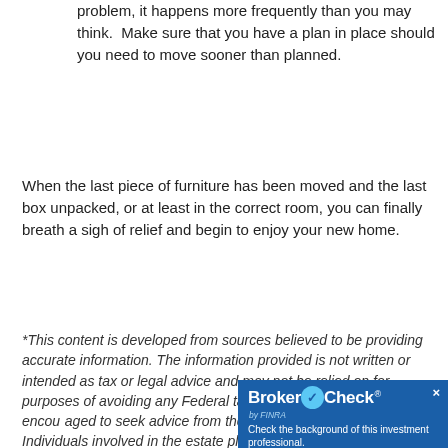problem, it happens more frequently than you may think.  Make sure that you have a plan in place should you need to move sooner than planned.
When the last piece of furniture has been moved and the last box unpacked, or at least in the correct room, you can finally breath a sigh of relief and begin to enjoy your new home.
*This content is developed from sources believed to be providing accurate information. The information provided is not written or intended as tax or legal advice and may not be relied on for purposes of avoiding any Federal tax penalties. Individuals are encouraged to seek advice from their own tax or legal counsel. Individuals involved in the estate planning p...